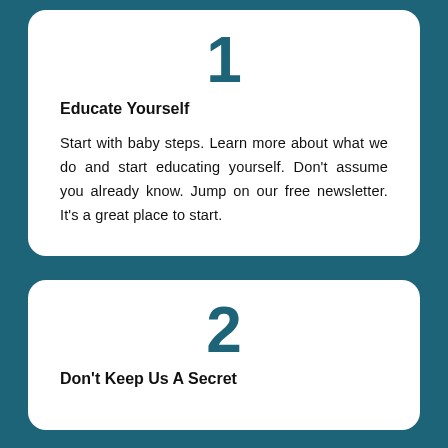1
Educate Yourself
Start with baby steps. Learn more about what we do and start educating yourself. Don't assume you already know. Jump on our free newsletter. It's a great place to start.
2
Don't Keep Us A Secret